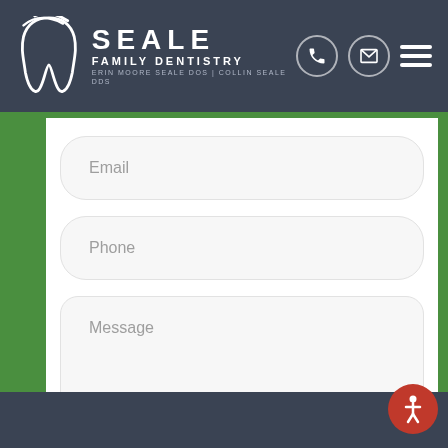[Figure (logo): Seale Family Dentistry logo with tooth icon and text: SEALE FAMILY DENTISTRY, ERIN MOORE SEALE DOS | COLLIN SEALE DDS]
Email
Phone
Message